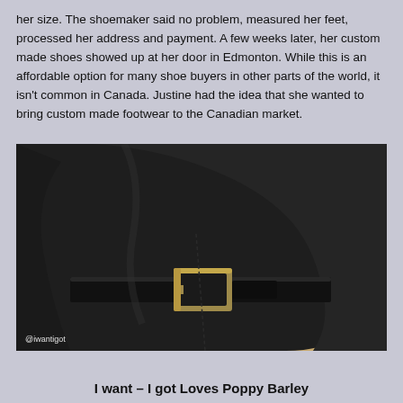her size. The shoemaker said no problem, measured her feet, processed her address and payment. A few weeks later, her custom made shoes showed up at her door in Edmonton. While this is an affordable option for many shoe buyers in other parts of the world, it isn't common in Canada. Justine had the idea that she wanted to bring custom made footwear to the Canadian market.
[Figure (photo): Close-up photo of a black leather boot with a gold/brass buckle strap detail, on a light wood floor background. Watermark '@iwantigot' in bottom-left corner.]
I want – I got Loves Poppy Barley